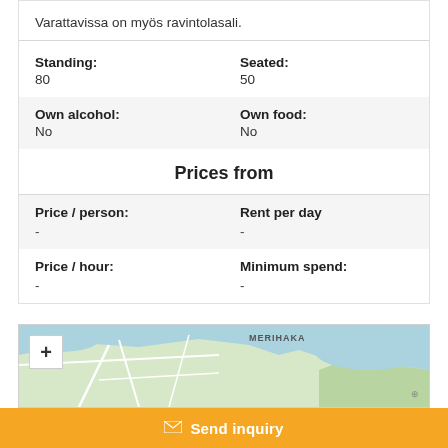Varattavissa on myös ravintolasali.
| Standing: | Seated: |
| --- | --- |
| 80 | 50 |
| Own alcohol: | Own food: |
| --- | --- |
| No | No |
Prices from
| Price / person: | Rent per day |
| --- | --- |
| - | - |
| Price / hour: | Minimum spend: |
| --- | --- |
| - | - |
[Figure (map): Map showing Merihaka area in Helsinki, Finland]
Send inquiry